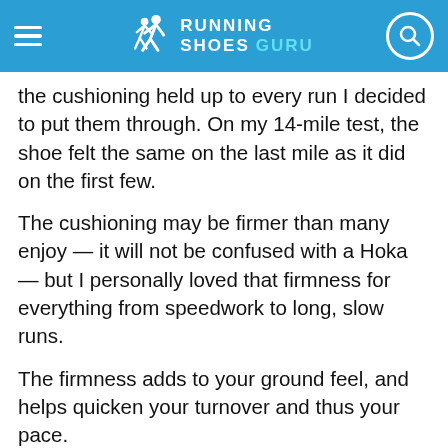RUNNING SHOES GURU
the cushioning held up to every run I decided to put them through. On my 14-mile test, the shoe felt the same on the last mile as it did on the first few.
The cushioning may be firmer than many enjoy — it will not be confused with a Hoka — but I personally loved that firmness for everything from speedwork to long, slow runs.
The firmness adds to your ground feel, and helps quicken your turnover and thus your pace.
The Sayonaras have definitely earned my respect, and have found a spot in my closet for the foreseeable future. If you like a solid, firm ride, then they might just find their way into your rotation as